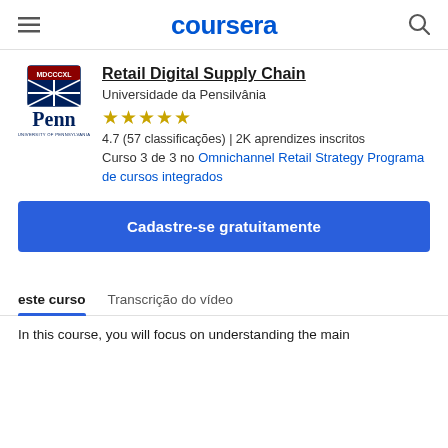coursera
[Figure (logo): University of Pennsylvania Penn logo with red and blue shield and Penn wordmark]
Retail Digital Supply Chain
Universidade da Pensilvânia
★★★★★
4.7 (57 classificações) | 2K aprendizes inscritos
Curso 3 de 3 no Omnichannel Retail Strategy Programa de cursos integrados
Cadastre-se gratuitamente
este curso
Transcrição do vídeo
In this course, you will focus on understanding the main